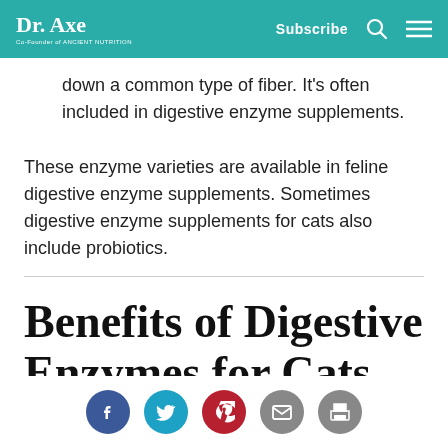Dr. Axe — Co-Founder of ANCIENT NUTRITION | Subscribe
down a common type of fiber. It's often included in digestive enzyme supplements.
These enzyme varieties are available in feline digestive enzyme supplements. Sometimes digestive enzyme supplements for cats also include probiotics.
Benefits of Digestive Enzymes for Cats
[Figure (infographic): Social share icons: Facebook, Twitter, Pinterest, Email, Print]